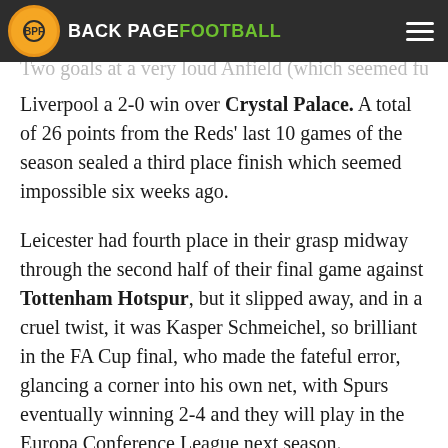BACK PAGE FOOTBALL
Two goals at a very loud Anfield (which seemed fuller than the 9,500 attendance) gave Liverpool a 2-0 win over Crystal Palace. A total of 26 points from the Reds' last 10 games of the season sealed a third place finish which seemed impossible six weeks ago.
Leicester had fourth place in their grasp midway through the second half of their final game against Tottenham Hotspur, but it slipped away, and in a cruel twist, it was Kasper Schmeichel, so brilliant in the FA Cup final, who made the fateful error, glancing a corner into his own net, with Spurs eventually winning 2-4 and they will play in the Europa Conference League next season.